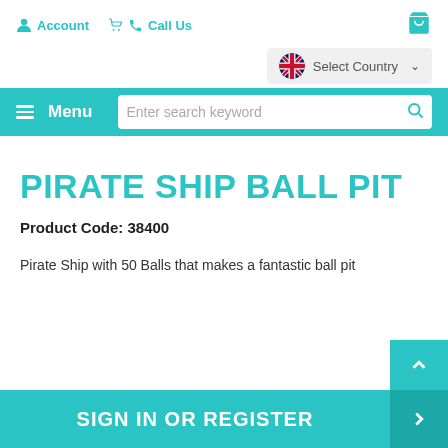Account  Call Us  [cart icon]
Select Country
Menu  Enter search keyword
PIRATE SHIP BALL PIT
Product Code: 38400
Pirate Ship with 50 Balls that makes a fantastic ball pit
SIGN IN OR REGISTER